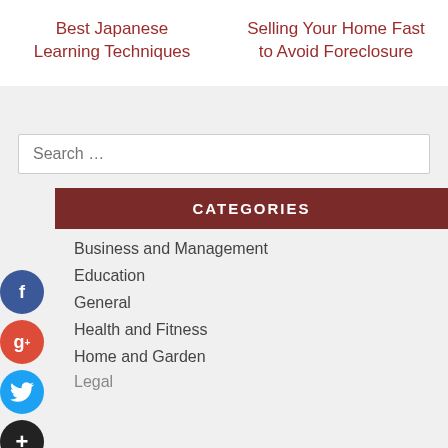Best Japanese Learning Techniques
Selling Your Home Fast to Avoid Foreclosure
CATEGORIES
Business and Management
Education
General
Health and Fitness
Home and Garden
Legal